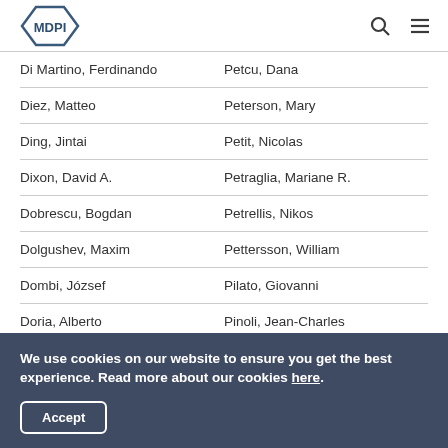MDPI
Di Martino, Ferdinando | Petcu, Dana
Diez, Matteo | Peterson, Mary
Ding, Jintai | Petit, Nicolas
Dixon, David A. | Petraglia, Mariane R.
Dobrescu, Bogdan | Petrellis, Nikos
Dolgushev, Maxim | Pettersson, William
Dombi, József | Pilato, Giovanni
Doria, Alberto | Pinoli, Jean-Charles
We use cookies on our website to ensure you get the best experience. Read more about our cookies here.